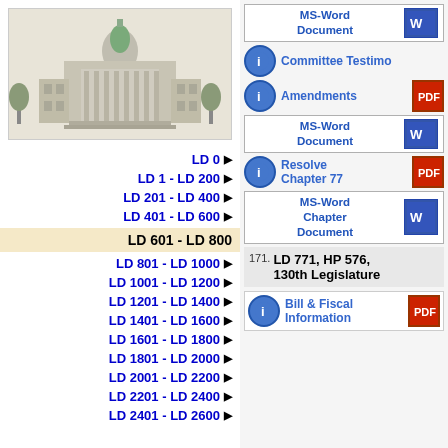[Figure (illustration): Maine State Capitol building illustration in grayscale with green dome]
LD 0 ▶
LD 1 - LD 200 ▶
LD 201 - LD 400 ▶
LD 401 - LD 600 ▶
LD 601 - LD 800 (active/selected)
LD 801 - LD 1000 ▶
LD 1001 - LD 1200 ▶
LD 1201 - LD 1400 ▶
LD 1401 - LD 1600 ▶
LD 1601 - LD 1800 ▶
LD 1801 - LD 2000 ▶
LD 2001 - LD 2200 ▶
LD 2201 - LD 2400 ▶
LD 2401 - LD 2600 ▶
MS-Word Document
Committee Testimony
Amendments
MS-Word Document
Resolve Chapter 77
MS-Word Chapter Document
LD 771, HP 576, 130th Legislature
171.
Bill & Fiscal Information